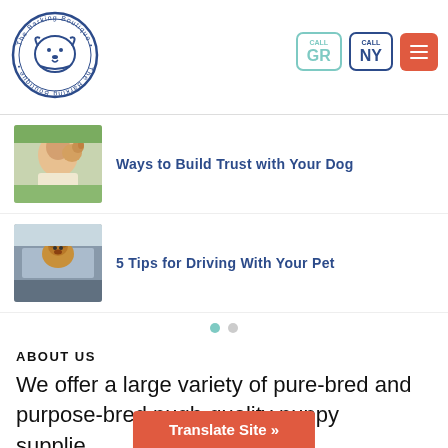[Figure (logo): The Barking Boutique circular logo with dog illustration in blue]
[Figure (other): CALL GR button with teal border and CALL NY button with blue border, plus orange hamburger menu button]
[Figure (photo): Thumbnail image of a woman holding a dog]
Ways to Build Trust with Your Dog
[Figure (photo): Thumbnail image of a dog looking out a car window]
5 Tips for Driving With Your Pet
ABOUT US
We offer a large variety of pure-bred and purpose-bred pu... gh-quality puppy supplie...
Translate Site »